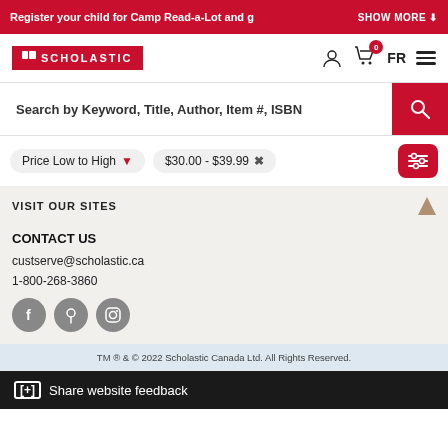Register your child for Camp Read-a-Lot and g   SHOW MORE
[Figure (logo): Scholastic Canada logo - red rectangle with book icon and SCHOLASTIC text in white]
Search by Keyword, Title, Author, Item #, ISBN
Price Low to High   $30.00 - $39.99
VISIT OUR SITES
CONTACT US
custserve@scholastic.ca
1-800-268-3860
[Figure (illustration): Social media icons: Facebook, Pinterest, Instagram]
TM ® & © 2022 Scholastic Canada Ltd. All Rights Reserved.
[+] Share website feedback